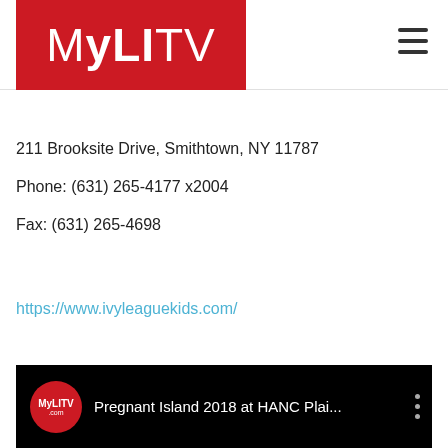[Figure (logo): MyLITV logo — white text on red background with stylized 'MyLITV' wordmark]
211 Brooksite Drive, Smithtown, NY 11787
Phone: (631) 265-4177 x2004
Fax: (631) 265-4698
https://www.ivyleaguekids.com/
[Figure (screenshot): YouTube video thumbnail showing MyLITV logo and title 'Pregnant Island 2018 at HANC Plai...' on black background]